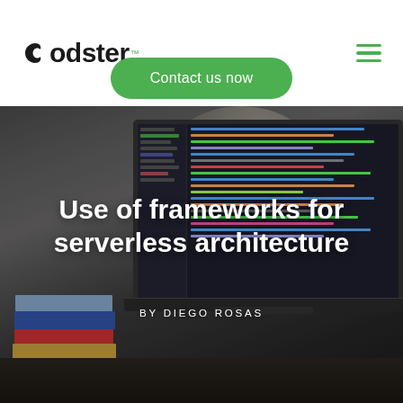Codster
Contact us now
[Figure (photo): Dark background photograph of a laptop open showing code editor, with a stack of books on the left side of the desk, dimly lit room with light casting shadows]
Use of frameworks for serverless architecture
BY DIEGO ROSAS